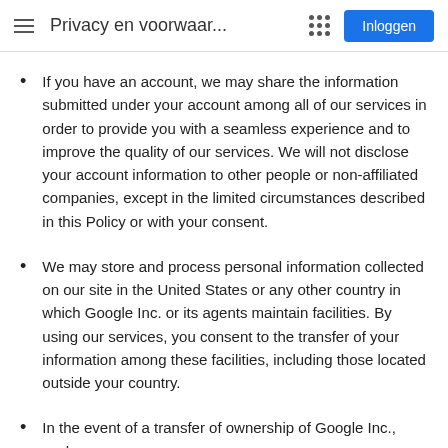Privacy en voorwaar...
If you have an account, we may share the information submitted under your account among all of our services in order to provide you with a seamless experience and to improve the quality of our services. We will not disclose your account information to other people or non-affiliated companies, except in the limited circumstances described in this Policy or with your consent.
We may store and process personal information collected on our site in the United States or any other country in which Google Inc. or its agents maintain facilities. By using our services, you consent to the transfer of your information among these facilities, including those located outside your country.
In the event of a transfer of ownership of Google Inc., such